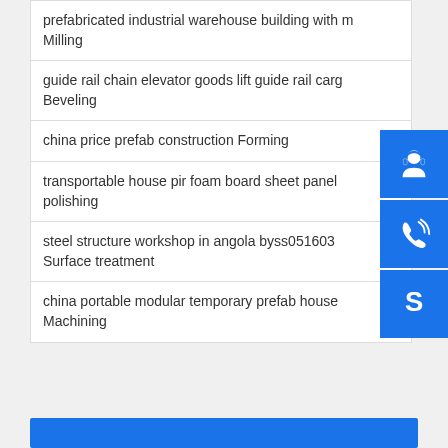| prefabricated industrial warehouse building with m
Milling |
| guide rail chain elevator goods lift guide rail carg…
Beveling |
| china price prefab construction Forming |
| transportable house pir foam board sheet panel…
polishing |
| steel structure workshop in angola byss051603
Surface treatment |
| china portable modular temporary prefab house
Machining |
[Figure (illustration): Blue headset/customer support icon button on right sidebar]
[Figure (illustration): Blue telephone/call icon button on right sidebar]
[Figure (illustration): Blue Skype icon button on right sidebar]